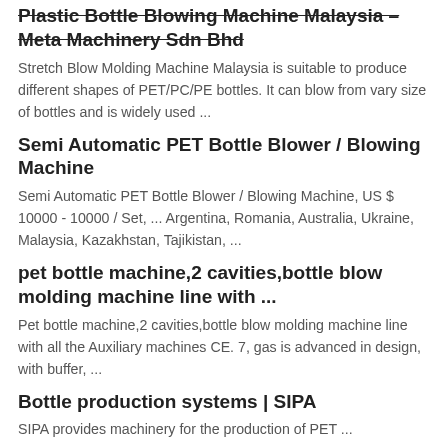Plastic Bottle Blowing Machine Malaysia – Meta Machinery Sdn Bhd
Stretch Blow Molding Machine Malaysia is suitable to produce different shapes of PET/PC/PE bottles. It can blow from vary size of bottles and is widely used ...
Semi Automatic PET Bottle Blower / Blowing Machine
Semi Automatic PET Bottle Blower / Blowing Machine, US $ 10000 - 10000 / Set, ... Argentina, Romania, Australia, Ukraine, Malaysia, Kazakhstan, Tajikistan, ...
pet bottle machine,2 cavities,bottle blow molding machine line with ...
Pet bottle machine,2 cavities,bottle blow molding machine line with all the Auxiliary machines CE. 7, gas is advanced in design, with buffer, ...
Bottle production systems | SIPA
SIPA provides machinery for the production of PET...